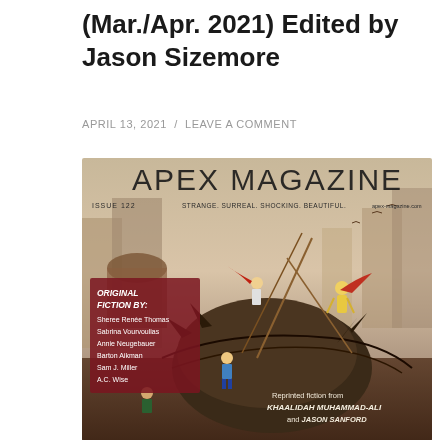(Mar./Apr. 2021) Edited by Jason Sizemore
APRIL 13, 2021 / LEAVE A COMMENT
[Figure (illustration): Cover of Apex Magazine Issue 122 (Mar./Apr. 2021). Large stylized title 'APEX MAGAZINE' at top. Tagline: 'STRANGE. SURREAL. SHOCKING. BEAUTIFUL.' Fantasy illustration of figures on a large creature in an urban setting. Text lists: Original Fiction By: Sheree Renée Thomas, Sabrina Vourvoulias, Annie Neugebauer, Barton Aikman, Sam J. Miller, A.C. Wise. Reprinted fiction from KHAALIDAH MUHAMMAD-ALI and JASON SANFORD.]